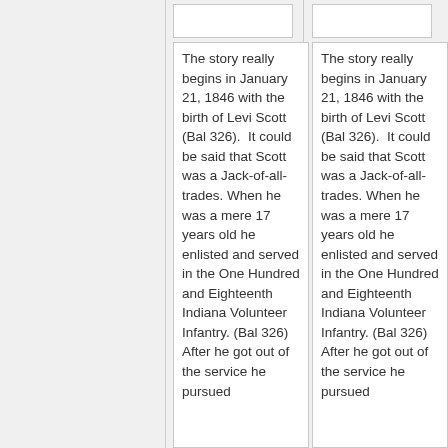The story really begins in January 21, 1846 with the birth of Levi Scott (Bal 326).  It could be said that Scott was a Jack-of-all-trades. When he was a mere 17 years old he enlisted and served in the One Hundred and Eighteenth Indiana Volunteer Infantry. (Bal 326) After he got out of the service he pursued
The story really begins in January 21, 1846 with the birth of Levi Scott (Bal 326).  It could be said that Scott was a Jack-of-all-trades. When he was a mere 17 years old he enlisted and served in the One Hundred and Eighteenth Indiana Volunteer Infantry. (Bal 326) After he got out of the service he pursued